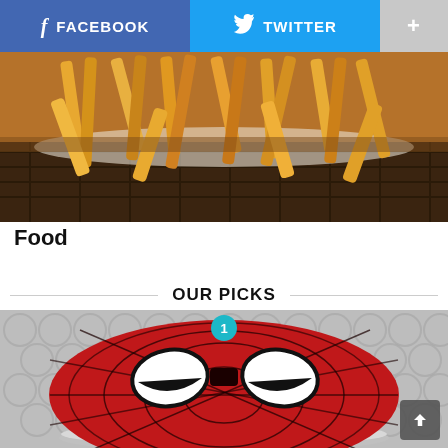[Figure (screenshot): Facebook and Twitter share buttons, plus a '+' button in a social sharing bar]
[Figure (photo): A basket of golden french fries on white paper]
Food
OUR PICKS
[Figure (photo): A red Spider-Man themed cake with white eyes and black webbing pattern, on a round silver plate, with a teal circle badge showing number 1]